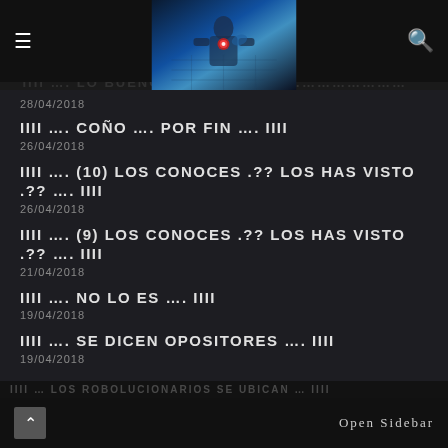≡  [header image]  🔍
28/04/2018
IIII …. COÑO …. POR FIN …. IIII
26/04/2018
IIII …. (10) LOS CONOCES .?? LOS HAS VISTO .?? …. IIII
26/04/2018
IIII …. (9) LOS CONOCES .?? LOS HAS VISTO .?? …. IIII
21/04/2018
IIII …. NO LO ES …. IIII
19/04/2018
IIII …. SE DICEN OPOSITORES …. IIII
19/04/2018
∧   OPEN SIDEBAR
IIII … LOS ROBOLUCIONARIOS SE UBICAN … IIII